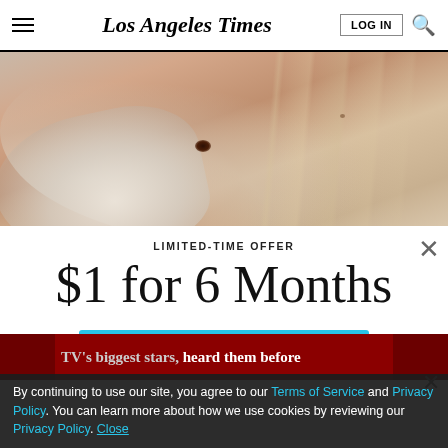Los Angeles Times
[Figure (photo): Close-up photo of skin with a mole being examined by a gloved hand]
LIMITED-TIME OFFER
$1 for 6 Months
SUBSCRIBE NOW
TV's biggest stars, heard them before
By continuing to use our site, you agree to our Terms of Service and Privacy Policy. You can learn more about how we use cookies by reviewing our Privacy Policy. Close